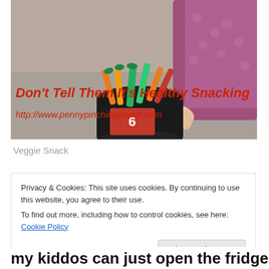[Figure (photo): A person holding a black container/bucket filled with vegetable sticks (carrots, cucumbers, peppers). The image has red italic overlay text reading 'Don't Tell Them It's Healthy Snacking' and 'http://www.pennypinchingpeach.com']
Veggie Snack
Privacy & Cookies: This site uses cookies. By continuing to use this website, you agree to their use.
To find out more, including how to control cookies, see here: Cookie Policy
[Close and accept button]
my kiddos can just open the fridge and